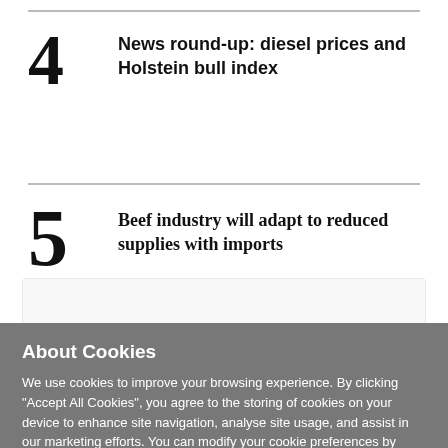4 News round-up: diesel prices and Holstein bull index
5 Beef industry will adapt to reduced supplies with imports
About Cookies
We use cookies to improve your browsing experience. By clicking "Accept All Cookies", you agree to the storing of cookies on your device to enhance site navigation, analyse site usage, and assist in our marketing efforts. You can modify your cookie preferences by clicking on cookie settings within our Cookie Policy
Cookie Settings
Accept All Cookies